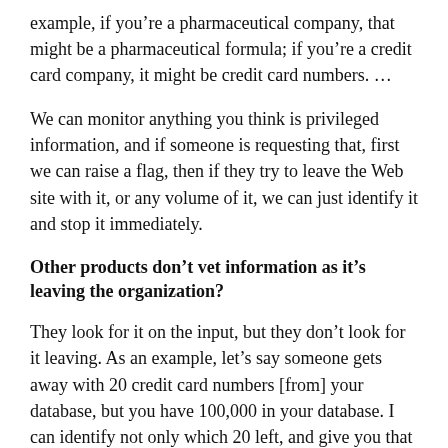example, if you're a pharmaceutical company, that might be a pharmaceutical formula; if you're a credit card company, it might be credit card numbers. …
We can monitor anything you think is privileged information, and if someone is requesting that, first we can raise a flag, then if they try to leave the Web site with it, or any volume of it, we can just identify it and stop it immediately.
Other products don't vet information as it's leaving the organization?
They look for it on the input, but they don't look for it leaving. As an example, let's say someone gets away with 20 credit card numbers [from] your database, but you have 100,000 in your database. I can identify not only which 20 left, and give you that forensic information, so that you only have to